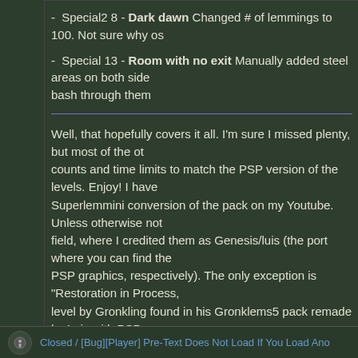- Special2 8 - Dark dawn Changed # of lemmings to 100. Not sure why os
- Special 13 - Room with no exit Manually added steel areas on both side bash through them
Well, that hopefully covers it all. I'm sure I missed plenty, but most of the ot counts and time limits to match the PSP version of the levels. Enjoy! I have Superlemmini conversion of the pack on my Youtube. Unless otherwise not field, where I credited them as Genesis/luis (the port where you can find the PSP graphics, respectively). The only exception is "Restoration in Process, level by Gronkling found in his Gronklems5 pack remade by Luis with PSP
Special thanks to
- Sony for the PSP port of the game
- oskar12345 for the Lemmini version of the pack and the tileset/ripped PS
- ericderkovits for the PSP tracks which I downloaded and used particularly graphics.
- luis for the remakes of some Genesis/custom levels with PSP graphics fo
Closed / [Bug][Player] Pre-Text Does Not Load If You Load Ano